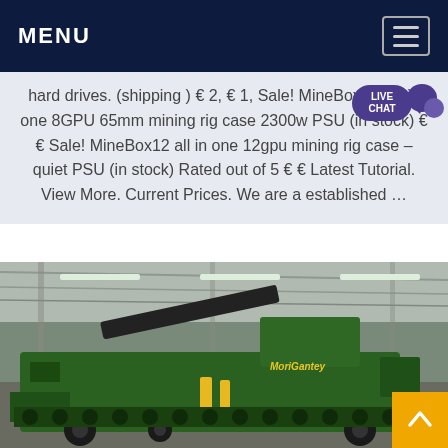MENU
hard drives. (shipping ) € 2, € 1, Sale! MineBox 8L all in one 8GPU 65mm mining rig case 2300w PSU (in stock) € € Sale! MineBox12 all in one 12gpu mining rig case – quiet PSU (in stock) Rated out of 5 € € Latest Tutorial. View More. Current Prices. We are a established ...
[Figure (photo): A large green John Deere agricultural harvester machine parked inside an industrial warehouse with a metal roof and fluorescent lighting.]